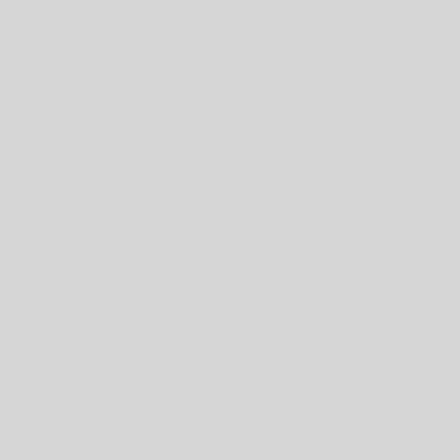| Game Mode | Sub-mode | Maps |
| --- | --- | --- |
| Capture the Flag |  | 2Fort (Invasion) · Double Cr... |
| Control Point | Attack/Defend | Altitude · Manor) · |
| Control Point | Medieval Mode | DeGroot... |
| Control Point | Domination | Standin... |
| Control Point | Symmetric | 5Gorge · (Sinshin... |
| King of the Hill |  | Badlands · Brazil · Cascade · Event · Megalo · Moldergrov... |
| Mannpower |  | Foundry · Gorge · Hellfire · T... |
| Mann vs. Machine |  | Bigrock · Coal Town (Ghost... |
| PASS Time |  | Brickyard · District · Timberto... |
| Payload |  | Badwater Basin (Bloodwate... Rush · Gravestone · Hellsto... |
| Payload Race |  | Banana Bay · Hightower (He... |
| Player Destruction |  | Cursed Cove · Farmageddor... |
| Robot Destruction |  | Asteroid |
| Special Delivery |  | Doomsday (Carnival of Carn... |
| Territorial Control |  | Hydro |
| Training Mode |  | Dustbowl · Target |
| Other |  | Background01 · Cloak (Conf... |